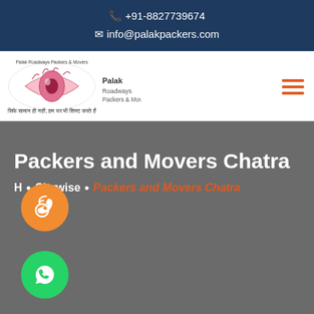📞 +91-8827739674
✉ info@palakpackers.com
[Figure (logo): Palak Roadways Packers & Movers logo with eye graphic and Hindi tagline]
Packers and Movers Chatra
Home • Citywise • Packers and Movers Chatra